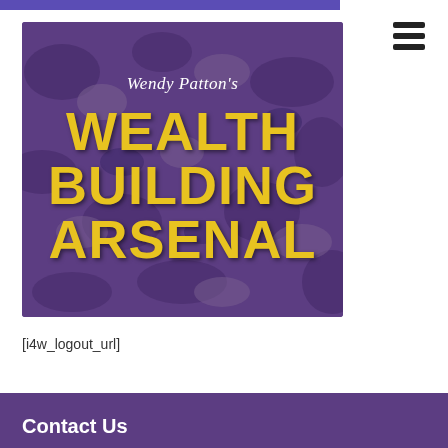[Figure (illustration): Book cover for 'Wendy Patton's Wealth Building Arsenal' with purple camouflage background and yellow bold text]
[i4w_logout_url]
Contact Us